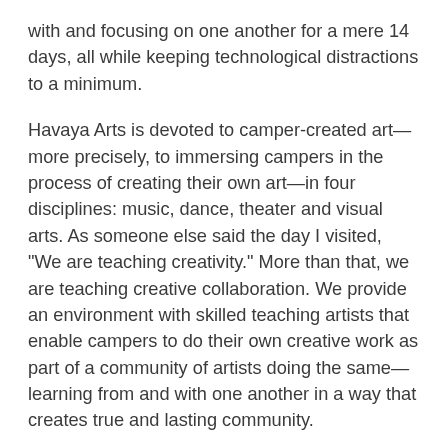with and focusing on one another for a mere 14 days, all while keeping technological distractions to a minimum.
Havaya Arts is devoted to camper-created art—more precisely, to immersing campers in the process of creating their own art—in four disciplines: music, dance, theater and visual arts. As someone else said the day I visited, "We are teaching creativity." More than that, we are teaching creative collaboration. We provide an environment with skilled teaching artists that enable campers to do their own creative work as part of a community of artists doing the same—learning from and with one another in a way that creates true and lasting community.
The second experience is seeing the response to our upcoming Reconstructionist convention, which will be